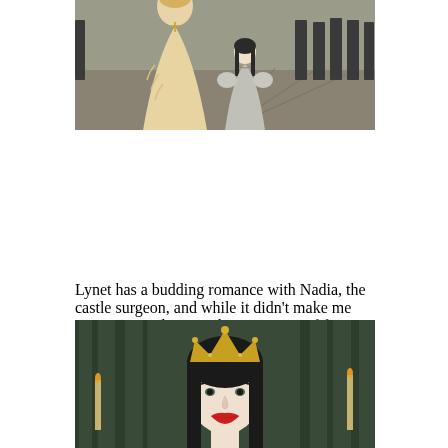[Figure (photo): Movie still showing two women in period costume — a blonde woman in an elaborate cream/gold fringed gown facing a younger dark-haired woman in a gray gown, in a grand stone courtyard with armored guards in the background.]
Lynet has a budding romance with Nadia, the castle surgeon, and while it didn't make me swoon, it made me so happy to see a f/f romance in YA fantasy. It was the slowest burn possible but it is a real friendship (with some bumps along the way) that blossoms into a very real and sweet first romance.
[Figure (photo): Movie still of a young dark-haired woman wearing a gold crown, with red lips and a pale complexion, looking directly at the camera. Candles and dark wooden background visible behind her.]